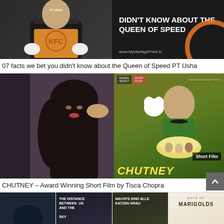[Figure (photo): Article thumbnail: man in PT Usha branded jacket holding KFC box, with dark background and text overlay 'DIDN'T KNOW ABOUT THE QUEEN OF SPEED', www.MyVantagePoint.in]
07 facts we bet you didn't know about the Queen of Speed PT Usha
[Figure (photo): Article thumbnail: left side shows a woman (Tisca Chopra) in black outfit, right side shows Chutney movie poster with woman in green holding a bowl, dog illustration, 'Short Film' badge, and CHUTNEY title in yellow]
CHUTNEY – Award Winning Short Film by Tisca Chopra
[Figure (photo): Bottom row of four movie thumbnails: first dark blue with figure, second dark with text 'THE DISTANCE BETWEEN US AND THE SKY', third with text 'NACHTS SIND ALLE KATZEN GRAU', fourth cream with 'DAYS OF MARIGOLDS']